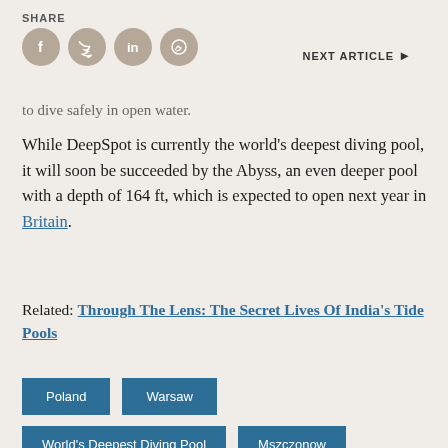SHARE | NEXT ARTICLE
to dive safely in open water.
While DeepSpot is currently the world's deepest diving pool, it will soon be succeeded by the Abyss, an even deeper pool with a depth of 164 ft, which is expected to open next year in Britain.
Related: Through The Lens: The Secret Lives Of India's Tide Pools
Poland
Warsaw
World's Deepest Diving Pool
Mszczonow
DeepSpot